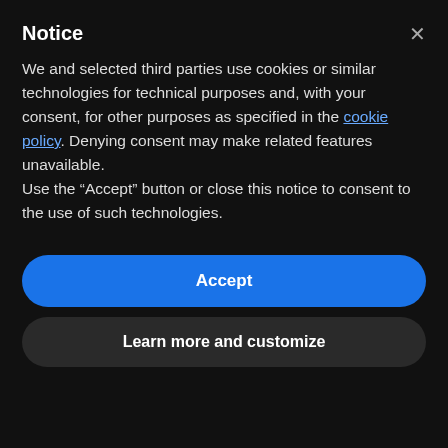Notice
We and selected third parties use cookies or similar technologies for technical purposes and, with your consent, for other purposes as specified in the cookie policy. Denying consent may make related features unavailable.
Use the "Accept" button or close this notice to consent to the use of such technologies.
Accept
Learn more and customize
innovative ideas. The new Genie 03 Speedmeter, officially unveiled in Geneva last month, is a perfect example of this.